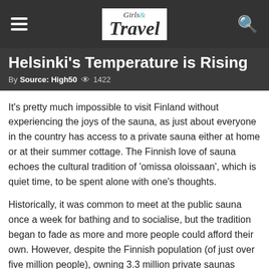Girls & Travel
Helsinki's Temperature is Rising
By Source: High50 👁 1422
It's pretty much impossible to visit Finland without experiencing the joys of the sauna, as just about everyone in the country has access to a private sauna either at home or at their summer cottage. The Finnish love of sauna echoes the cultural tradition of 'omissa oloissaan', which is quiet time, to be spent alone with one's thoughts.
Historically, it was common to meet at the public sauna once a week for bathing and to socialise, but the tradition began to fade as more and more people could afford their own. However, despite the Finnish population (of just over five million people), owning 3.3 million private saunas between them, Helsinki is